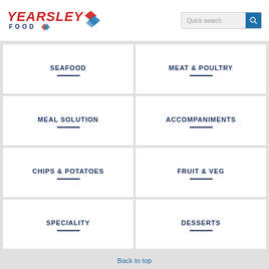[Figure (logo): Yearsley Food logo with red italic text and diamond graphic]
Quick search
SEAFOOD
MEAT & POULTRY
MEAL SOLUTION
ACCOMPANIMENTS
CHIPS & POTATOES
FRUIT & VEG
SPECIALITY
DESSERTS
Back to top
Breaded Chicken Strip Price marked £1 Dima
Southern Fried Chicken Strip Price marked £1 Dima
We have updated our privacy policy - please read the full policy or simply accept these changes.